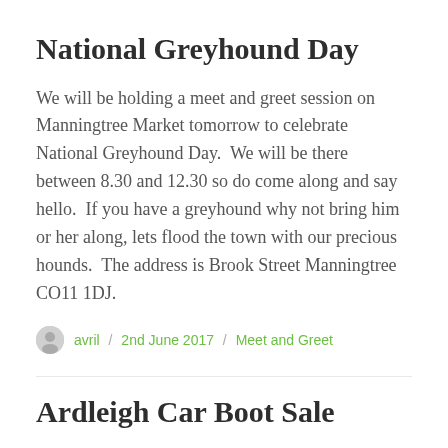National Greyhound Day
We will be holding a meet and greet session on Manningtree Market tomorrow to celebrate National Greyhound Day.  We will be there between 8.30 and 12.30 so do come along and say hello.  If you have a greyhound why not bring him or her along, lets flood the town with our precious hounds.  The address is Brook Street Manningtree CO11 1DJ.
avril / 2nd June 2017 / Meet and Greet
Ardleigh Car Boot Sale